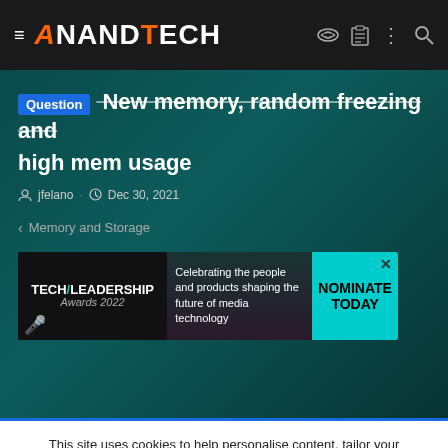AnandTech navigation bar
Question New memory, random freezing and high mem usage
jfelano · Dec 30, 2021
< Memory and Storage
[Figure (other): Tech Leadership Awards 2022 advertisement banner: Celebrating the people and products shaping the future of media technology. NOMINATE TODAY button.]
This site uses cookies to help personalise content, tailor your experience and to keep you logged in if you register. By continuing to use this site, you are consenting to our use of cookies.